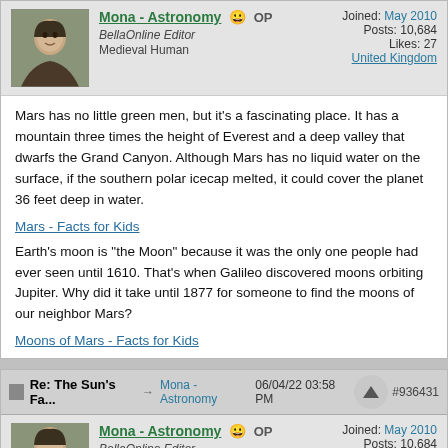Mona - Astronomy OP
BellaOnline Editor
Medieval Human
Joined: May 2010
Posts: 10,684
Likes: 27
United Kingdom
Mars has no little green men, but it's a fascinating place. It has a mountain three times the height of Everest and a deep valley that dwarfs the Grand Canyon. Although Mars has no liquid water on the surface, if the southern polar icecap melted, it could cover the planet 36 feet deep in water.
Mars - Facts for Kids
Earth's moon is "the Moon" because it was the only one people had ever seen until 1610. That's when Galileo discovered moons orbiting Jupiter. Why did it take until 1877 for someone to find the moons of our neighbor Mars?
Moons of Mars - Facts for Kids
Re: The Sun's Fa... → Mona - Astronomy 06/04/22 03:58 PM #936431
Mona - Astronomy OP
BellaOnline Editor
Joined: May 2010
Posts: 10,684